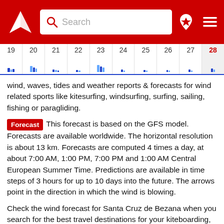Windy.com - Search header with logo and navigation
[Figure (other): Wind forecast calendar strip showing dates 19-28 with small wind bar indicators along the bottom]
wind, waves, tides and weather reports & forecasts for wind related sports like kitesurfing, windsurfing, surfing, sailing, fishing or paragliding.
Forecast  This forecast is based on the GFS model. Forecasts are available worldwide. The horizontal resolution is about 13 km. Forecasts are computed 4 times a day, at about 7:00 AM, 1:00 PM, 7:00 PM and 1:00 AM Central European Summer Time. Predictions are available in time steps of 3 hours for up to 10 days into the future. The arrows point in the direction in which the wind is blowing.
Check the wind forecast for Santa Cruz de Bezana when you search for the best travel destinations for your kiteboarding, windsurfing or sailing vacations in Spain. Or use our wind forecast to find the wind speed today in Santa Cruz de Bezana or to have a look at the wind direction tomorrow at Santa Cruz de Bezana.